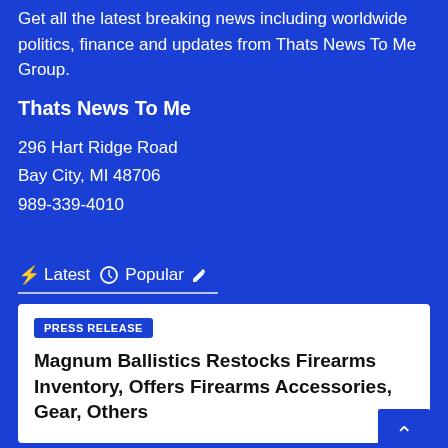Get all the latest breaking news including worldwide politics, finance and updates from Thats News To Me Group.
Thats News To Me
296 Hart Ridge Road
Bay City, MI 48706
989-339-4010
⚡ Latest  🕐 Popular ✏
PRESS RELEASE
Magnum Ballistics Restocks Firearms Inventory, Offers Firearms Accessories, Gear, Others